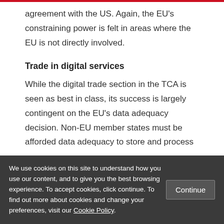agreement with the US. Again, the EU's constraining power is felt in areas where the EU is not directly involved.
Trade in digital services
While the digital trade section in the TCA is seen as best in class, its success is largely contingent on the EU's data adequacy decision. Non-EU member states must be afforded data adequacy to store and process
We use cookies on this site to understand how you use our content, and to give you the best browsing experience. To accept cookies, click continue. To find out more about cookies and change your preferences, visit our Cookie Policy.